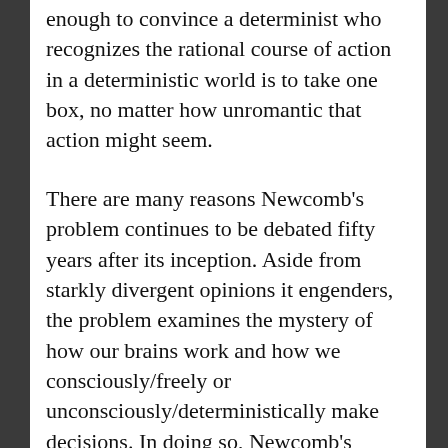enough to convince a determinist who recognizes the rational course of action in a deterministic world is to take one box, no matter how unromantic that action might seem.
There are many reasons Newcomb's problem continues to be debated fifty years after its inception. Aside from starkly divergent opinions it engenders, the problem examines the mystery of how our brains work and how we consciously/freely or unconsciously/deterministically make decisions. In doing so, Newcomb's problem addresses a question philosophers have debated for as long as they have been practicing philosophy. And in the twenty-first century, we are closer than ever to recreating a Newcomb's problem scenario. As we learn more about how our brains work and how we make decisions, gaining insight to this